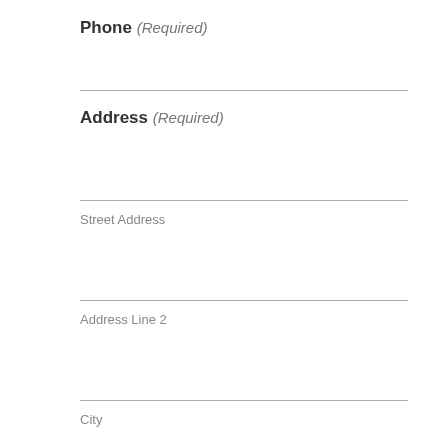Phone (Required)
Street Address
Address (Required)
Street Address
Address Line 2
City